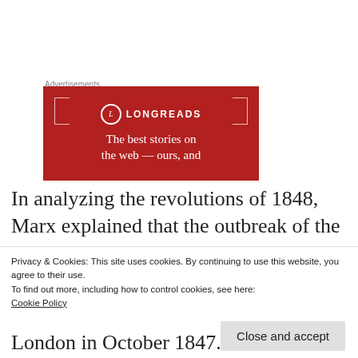[Figure (logo): Longreads advertisement banner with red background, Longreads logo with circle L, decorative brackets and lines, tagline 'The best stories on the web — ours, and']
In analyzing the revolutions of 1848, Marx explained that the outbreak of the European
Privacy & Cookies: This site uses cookies. By continuing to use this website, you agree to their use.
To find out more, including how to control cookies, see here:
Cookie Policy
Close and accept
London in October 1847.